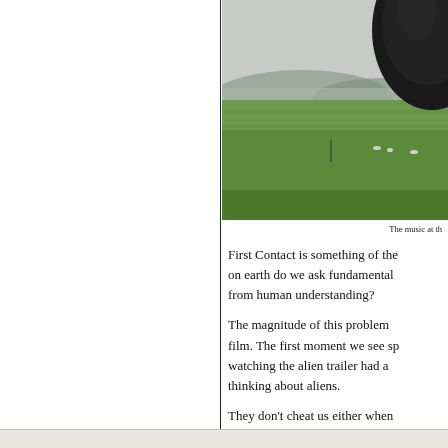[Figure (photo): A large dark spherical alien object hovering over a wide green field/meadow with misty hills in the background under an overcast sky. The object is partially cropped at the top right.]
The music at th
First Contact is something of the on earth do we ask fundamental from human understanding?
The magnitude of this problem film. The first moment we see sp watching the alien trailer had a thinking about aliens.
They don't cheat us either when learning the aliens' language. Gr